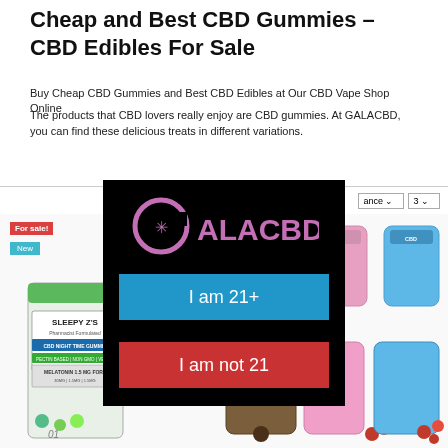Cheap and Best CBD Gummies – CBD Edibles For Sale
Buy Cheap CBD Gummies and Best CBD Edibles at Our CBD Vape Shop Online
The products that CBD lovers really enjoy are CBD gummies. At GALACBD, you can find these delicious treats in different variations.
[Figure (screenshot): Age verification overlay on GALACBD website with GALACBD logo, blue 'I am 21+' button and red 'I am not 21' button on black background]
[Figure (photo): Product image of Sleepy Z's CBD Night Time Gummies on the left product card with 'For sale!' and 'New' badges]
[Figure (photo): Product images of various CBD gummies jars on the right product card]